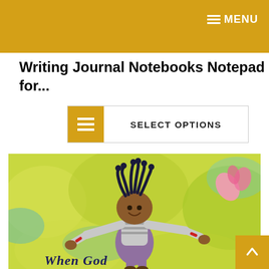MENU
Writing Journal Notebooks Notepad for...
SELECT OPTIONS
[Figure (illustration): Book cover illustration showing a joyful young Black girl with braided hair styled upward, wearing a striped shirt and purple overalls, arms spread wide, jumping against a bright yellow-green painted background with colorful flower elements. Text at the bottom reads 'When God' in dark blue illustrated lettering.]